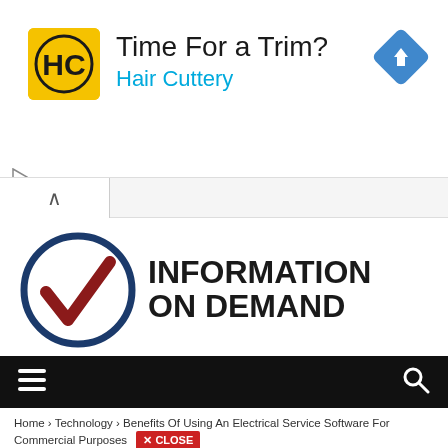[Figure (screenshot): Advertisement banner for Hair Cuttery with yellow/black HC logo, text 'Time For a Trim?' and 'Hair Cuttery' in cyan, blue diamond navigation icon on right, small play and X icons on left]
[Figure (logo): Information On Demand logo with dark blue circle containing dark red checkmark, and bold dark text 'INFORMATION ON DEMAND']
[Figure (screenshot): Black navigation bar with hamburger menu icon on left and magnifying glass search icon on right]
Home › Technology › Benefits Of Using An Electrical Service Software For Commercial Purposes
[Figure (screenshot): Advertisement for sweetFrog showing checkmarks with 'Dine-in', 'Takeout', 'Delivery' options, sweetFrog logo bottom left, blue diamond navigation icon bottom right, small play and X icons bottom left]